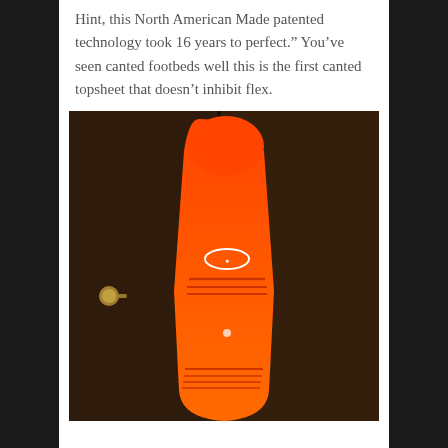Hint, this North American Made patented technology took 16 years to perfect." You've seen canted footbeds well this is the first canted topsheet that doesn't inhibit flex.
[Figure (photo): Orange snowboard leaning vertically against a dark brown wooden door/cabinet, with a brand logo visible in the center and horizontal decorative lines near the top and bottom.]